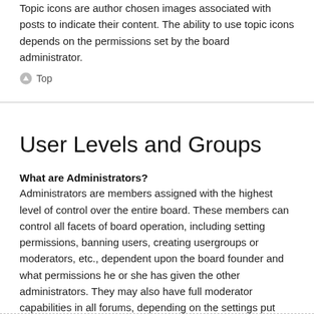Topic icons are author chosen images associated with posts to indicate their content. The ability to use topic icons depends on the permissions set by the board administrator.
⬆ Top
User Levels and Groups
What are Administrators?
Administrators are members assigned with the highest level of control over the entire board. These members can control all facets of board operation, including setting permissions, banning users, creating usergroups or moderators, etc., dependent upon the board founder and what permissions he or she has given the other administrators. They may also have full moderator capabilities in all forums, depending on the settings put forth by the board founder.
⬆ Top